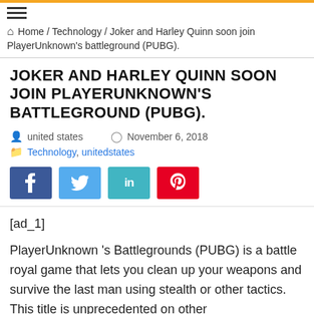Home / Technology / Joker and Harley Quinn soon join PlayerUnknown's battleground (PUBG).
JOKER AND HARLEY QUINN SOON JOIN PLAYERUNKNOWN'S BATTLEGROUND (PUBG).
united states   November 6, 2018
Technology, unitedstates
[Figure (infographic): Social sharing buttons: Facebook (blue), Twitter (light blue), LinkedIn (teal), Pinterest (red)]
[ad_1]
PlayerUnknown 's Battlegrounds (PUBG) is a battle royal game that lets you clean up your weapons and survive the last man using stealth or other tactics. This title is unprecedented on other platforms like...